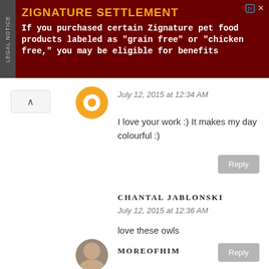[Figure (other): Advertisement banner for Zignature Settlement. Dark red background with legal notice sidebar. Title: ZIGNATURE SETTLEMENT. Body: If you purchased certain Zignature pet food products labeled as "grain free" or "chicken free," you may be eligible for benefits]
July 12, 2015 at 12:34 AM
I love your work :) It makes my day colourful :)
Reply
CHANTAL JABLONSKI
July 12, 2015 at 12:36 AM
love these owls
Reply
MOREOFHIM